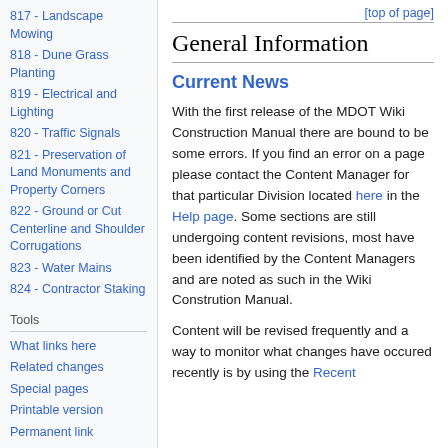817 - Landscape Mowing
818 - Dune Grass Planting
819 - Electrical and Lighting
820 - Traffic Signals
821 - Preservation of Land Monuments and Property Corners
822 - Ground or Cut Centerline and Shoulder Corrugations
823 - Water Mains
824 - Contractor Staking
Tools
What links here
Related changes
Special pages
Printable version
Permanent link
Page information
Cite this page
[top of page]
General Information
Current News
With the first release of the MDOT Wiki Construction Manual there are bound to be some errors. If you find an error on a page please contact the Content Manager for that particular Division located here in the Help page. Some sections are still undergoing content revisions, most have been identified by the Content Managers and are noted as such in the Wiki Constrution Manual.
Content will be revised frequently and a way to monitor what changes have occured recently is by using the Recent